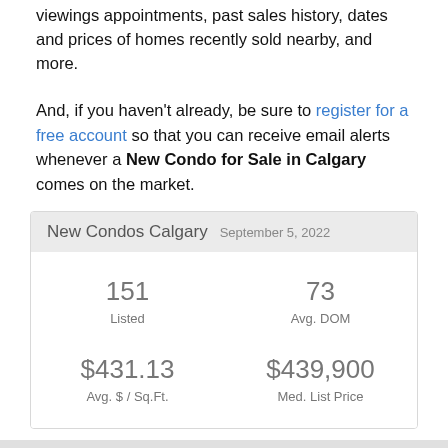viewings appointments, past sales history, dates and prices of homes recently sold nearby, and more.
And, if you haven't already, be sure to register for a free account so that you can receive email alerts whenever a New Condo for Sale in Calgary comes on the market.
| New Condos Calgary  September 5, 2022 |
| --- |
| 151
Listed | 73
Avg. DOM |
| $431.13
Avg. $ / Sq.Ft. | $439,900
Med. List Price |
Alerts!  Refine  Photo View